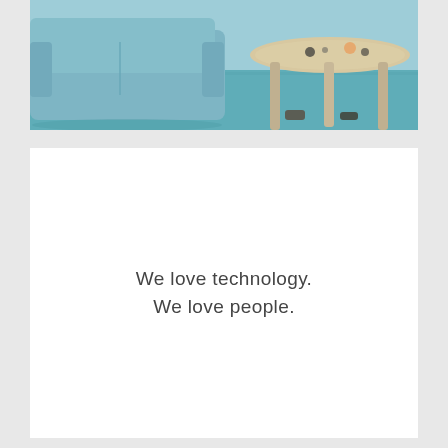[Figure (photo): Interior living room scene showing a light blue/teal sofa on the left and a round wooden coffee table on the right, with teal carpet and items on the table visible]
We love technology.
We love people.
[Figure (photo): Partial view of another section below, white card area]